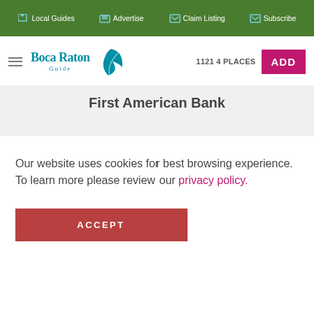Local Guides  Advertise  Claim Listing  Subscribe
[Figure (logo): Boca Raton Guide logo with teal text and leaf icon]
1121 4 PLACES
ADD
First American Bank
Our website uses cookies for best browsing experience. To learn more please review our privacy policy.
ACCEPT